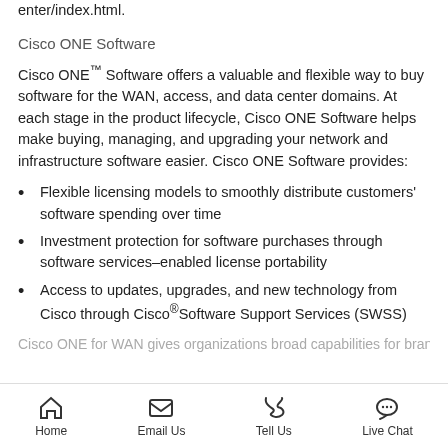enter/index.html.
Cisco ONE Software
Cisco ONE™ Software offers a valuable and flexible way to buy software for the WAN, access, and data center domains. At each stage in the product lifecycle, Cisco ONE Software helps make buying, managing, and upgrading your network and infrastructure software easier. Cisco ONE Software provides:
Flexible licensing models to smoothly distribute customers' software spending over time
Investment protection for software purchases through software services–enabled license portability
Access to updates, upgrades, and new technology from Cisco through Cisco® Software Support Services (SWSS)
Cisco ONE for WAN gives organizations broad capabilities for bran…
Home  Email Us  Tell Us  Live Chat